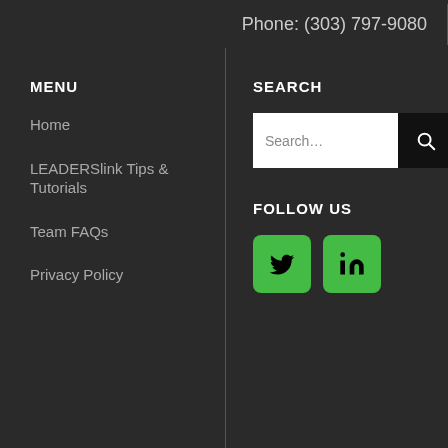Phone: (303) 797-9080
MENU
Home
LEADERSlink Tips & Tutorials
Team FAQs
Privacy Policy
SEARCH
[Figure (screenshot): Search input box with text 'Search...' and a black search button with magnifying glass icon]
FOLLOW US
[Figure (infographic): Two green rounded square social media icons: Twitter bird icon and LinkedIn 'in' icon]